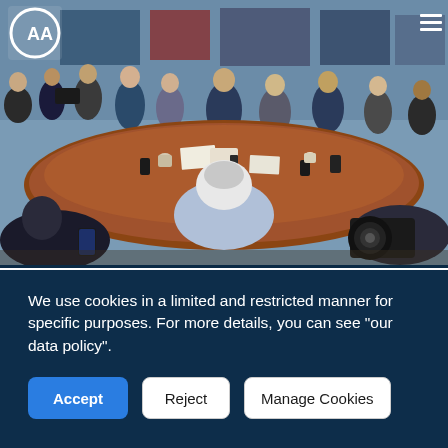[Figure (photo): News agency (AA - Anadolu Agency) website screenshot showing a meeting scene: multiple people seated around a large oval wooden table in a conference room, with photographers and observers standing around them. The AA logo is visible in the top-left corner with a menu icon in the top-right.]
We use cookies in a limited and restricted manner for specific purposes. For more details, you can see "our data policy".
Accept
Reject
Manage Cookies